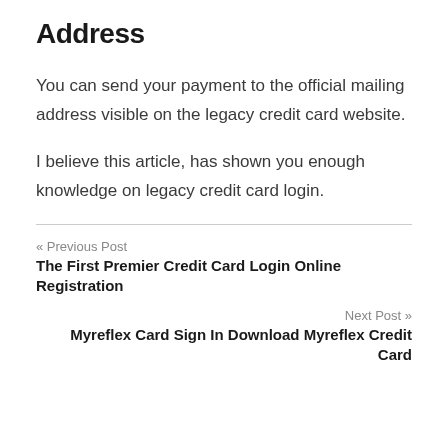Address
You can send your payment to the official mailing address visible on the legacy credit card website.
I believe this article, has shown you enough knowledge on legacy credit card login.
« Previous Post
The First Premier Credit Card Login Online Registration
Next Post »
Myreflex Card Sign In Download Myreflex Credit Card